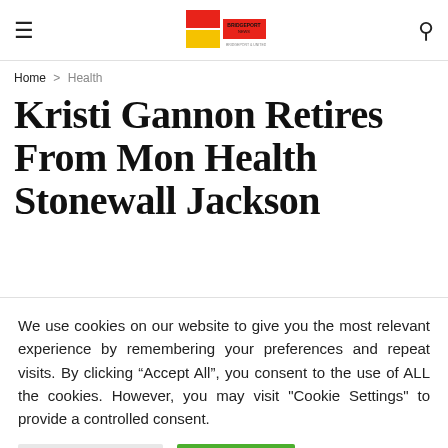Navigation header with hamburger menu, site logo, and search icon
Home > Health
Kristi Gannon Retires From Mon Health Stonewall Jackson
We use cookies on our website to give you the most relevant experience by remembering your preferences and repeat visits. By clicking “Accept All”, you consent to the use of ALL the cookies. However, you may visit "Cookie Settings" to provide a controlled consent.